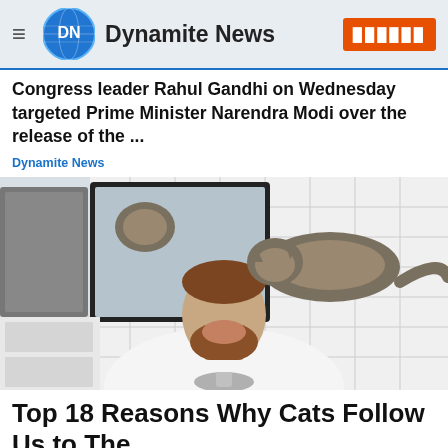Dynamite News
Congress leader Rahul Gandhi on Wednesday targeted Prime Minister Narendra Modi over the release of the ...
Dynamite News
[Figure (photo): A smiling bearded man in a white shirt at a bathroom sink, with a cat sitting on his head/shoulders, white tile walls and a mirror in the background.]
Top 18 Reasons Why Cats Follow Us to The